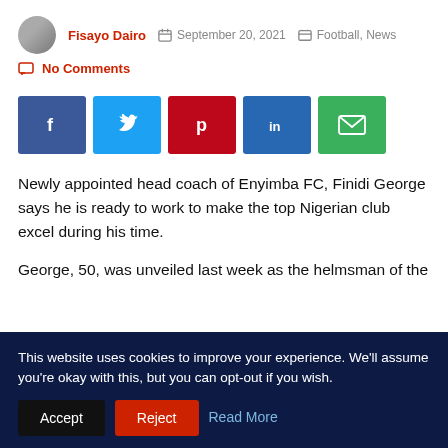Fisayo Dairo  September 20, 2021  Football, News  No Comments
[Figure (other): Social share buttons: Facebook, Twitter, Pinterest, LinkedIn, Email]
Newly appointed head coach of Enyimba FC, Finidi George says he is ready to work to make the top Nigerian club excel during his time.
George, 50, was unveiled last week as the helmsman of the
This website uses cookies to improve your experience. We'll assume you're okay with this, but you can opt-out if you wish.  Accept  Reject  Read More